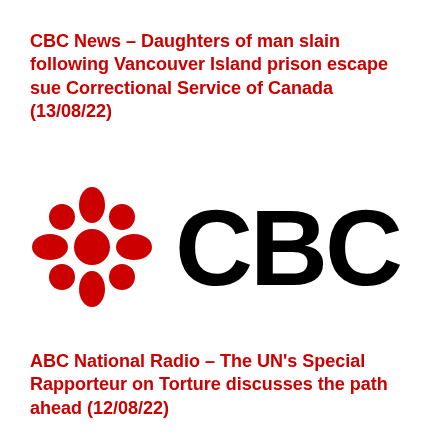CBC News – Daughters of man slain following Vancouver Island prison escape sue Correctional Service of Canada (13/08/22)
[Figure (logo): CBC logo consisting of a red gem/jewel icon made of circular segments on the left and the letters CBC in large black bold text on the right]
ABC National Radio – The UN's Special Rapporteur on Torture discusses the path ahead (12/08/22)